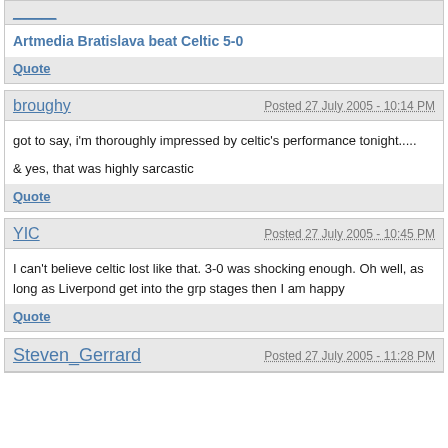Artmedia Bratislava beat Celtic 5-0
Quote
broughy
Posted 27 July 2005 - 10:14 PM
got to say, i'm thoroughly impressed by celtic's performance tonight.....
& yes, that was highly sarcastic
Quote
YIC
Posted 27 July 2005 - 10:45 PM
I can't believe celtic lost like that. 3-0 was shocking enough. Oh well, as long as Liverpond get into the grp stages then I am happy
Quote
Steven_Gerrard
Posted 27 July 2005 - 11:28 PM